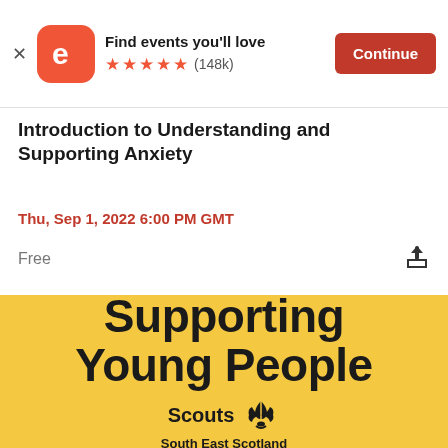[Figure (screenshot): Eventbrite app banner with orange logo, 'Find events you'll love', 5 stars, (148k) reviews, and Continue button]
Introduction to Understanding and Supporting Anxiety
Thu, Sep 1, 2022 6:00 PM GMT
Free
[Figure (illustration): Yellow banner reading 'Supporting Young People' with Scouts South East Scotland logo]